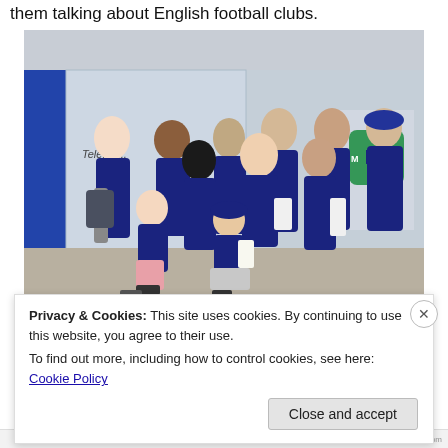them talking about English football clubs.
[Figure (photo): Group photo of approximately 11 people wearing dark navy blue Telefonica/Voluntarios t-shirts, standing in front of a glass building. Some people are kneeling in the front row. A Movistar logo is visible in the background.]
Privacy & Cookies: This site uses cookies. By continuing to use this website, you agree to their use.
To find out more, including how to control cookies, see here: Cookie Policy
Close and accept